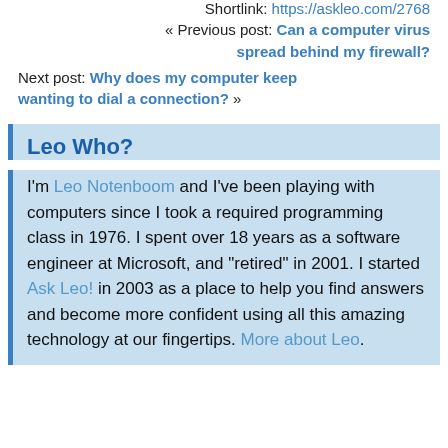Shortlink: https://askleo.com/2768
« Previous post: Can a computer virus spread behind my firewall?
Next post: Why does my computer keep wanting to dial a connection? »
Leo Who?
I'm Leo Notenboom and I've been playing with computers since I took a required programming class in 1976. I spent over 18 years as a software engineer at Microsoft, and "retired" in 2001. I started Ask Leo! in 2003 as a place to help you find answers and become more confident using all this amazing technology at our fingertips. More about Leo.